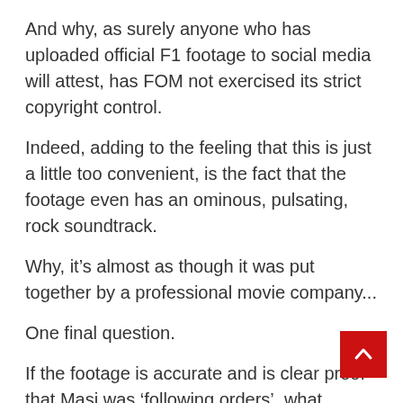And why, as surely anyone who has uploaded official F1 footage to social media will attest, has FOM not exercised its strict copyright control.
Indeed, adding to the feeling that this is just a little too convenient, is the fact that the footage even has an ominous, pulsating, rock soundtrack.
Why, it’s almost as though it was put together by a professional movie company...
One final question.
If the footage is accurate and is clear proof that Masi was ‘following orders’, what happens next? Forget what happens to the Australian, what happens in terms of the 2021 title?
Now that’s a conundrum that would surely make